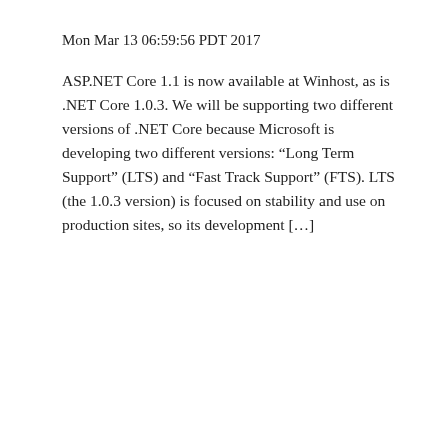Mon Mar 13 06:59:56 PDT 2017
ASP.NET Core 1.1 is now available at Winhost, as is .NET Core 1.0.3. We will be supporting two different versions of .NET Core because Microsoft is developing two different versions: “Long Term Support” (LTS) and “Fast Track Support” (FTS). LTS (the 1.0.3 version) is focused on stability and use on production sites, so its development […]